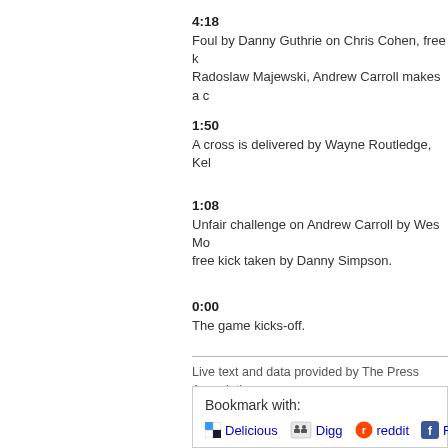4:18
Foul by Danny Guthrie on Chris Cohen, free k Radoslaw Majewski, Andrew Carroll makes a c
1:50
A cross is delivered by Wayne Routledge, Kel
1:08
Unfair challenge on Andrew Carroll by Wes Mo free kick taken by Danny Simpson.
0:00
The game kicks-off.
Live text and data provided by The Press Association.
Bookmark with:
Delicious Digg reddit Faceb